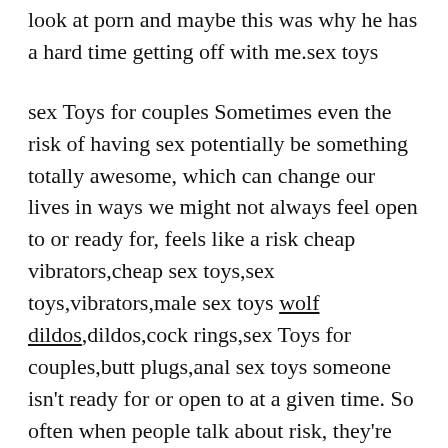look at porn and maybe this was why he has a hard time getting off with me.sex toys
sex Toys for couples Sometimes even the risk of having sex potentially be something totally awesome, which can change our lives in ways we might not always feel open to or ready for, feels like a risk cheap vibrators,cheap sex toys,sex toys,vibrators,male sex toys wolf dildos,dildos,cock rings,sex Toys for couples,butt plugs,anal sex toys someone isn't ready for or open to at a given time. So often when people talk about risk, they're only talking about the risks of bad stuff: but risks can be risks of positives too. However, just because we might get something positive still doesn't mean it's right for us in a given situation or time in life.sex Toys for couples
cheap sex toys Although rather thin, I haven't had